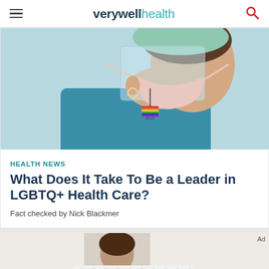verywell health
[Figure (photo): Close-up of a healthcare worker wearing a face mask, face shield, and a teal scrub top with a rainbow lanyard badge, looking downward.]
HEALTH NEWS
What Does It Take To Be a Leader in LGBTQ+ Health Care?
Fact checked by Nick Blackmer
[Figure (photo): Partial view of a person in a light gray background, showing head/shoulders from below chin.]
Ad